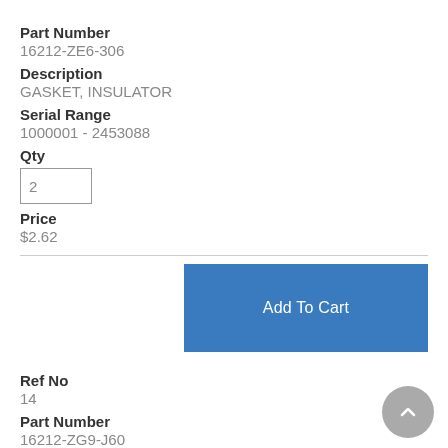Part Number
16212-ZE6-306
Description
GASKET, INSULATOR
Serial Range
1000001 - 2453088
Qty
Price
$2.62
Add To Cart
Ref No
14
Part Number
16212-ZG9-J60
Description
GASKET, INSULATOR
Serial Range